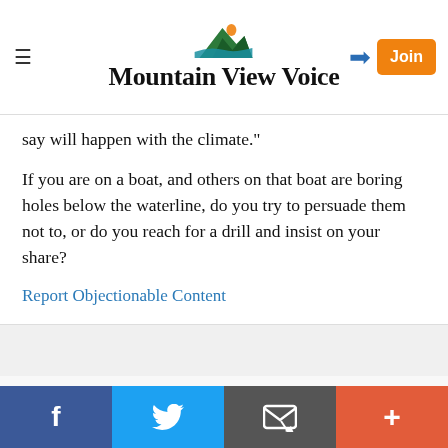Mountain View Voice
say will happen with the climate."
If you are on a boat, and others on that boat are boring holes below the waterline, do you try to persuade them not to, or do you reach for a drill and insist on your share?
Report Objectionable Content
Posted by Sherry Listgarten, a Mountain View Online blogger,
on Oct 13, 2019 at 2:28 pm
Sherry Listgarten is a registered user.
@KeepTheGas, Yes, it is very expensive to live here, and
f  [Twitter]  [Email]  +